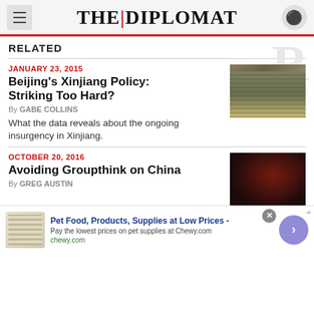THE|DIPLOMAT
RELATED
JANUARY 23, 2015
Beijing's Xinjiang Policy: Striking Too Hard?
By GABE COLLINS
What the data reveals about the ongoing insurgency in Xinjiang.
[Figure (photo): Group of soldiers in camouflage uniforms]
OCTOBER 20, 2016
Avoiding Groupthink on China
By GREG AUSTIN
[Figure (photo): Person at computer with red lighting, hacker-style image]
Pet Food, Products, Supplies at Low Prices - Pay the lowest prices on pet supplies at Chewy.com chewy.com